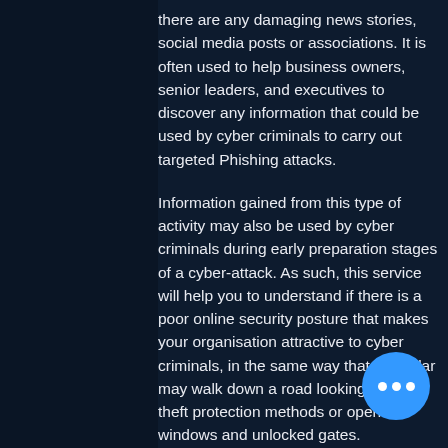there are any damaging news stories, social media posts or associations. It is often used to help business owners, senior leaders, and executives to discover any information that could be used by cyber criminals to carry out targeted Phishing attacks.
Information gained from this type of activity may also be used by cyber criminals during early preparation stages of a cyber-attack. As such, this service will help you to understand if there is a poor online security posture that makes your organisation attractive to cyber criminals, in the same way that a burglar may walk down a road looking for anti-theft protection methods or open windows and unlocked gates.
For example, if an employee's email address is publicly available online this is similar to a burglar finding a faulty lock on a window to your premises. Cybercriminals can configure the format of your companies email address, discover your employees online and put